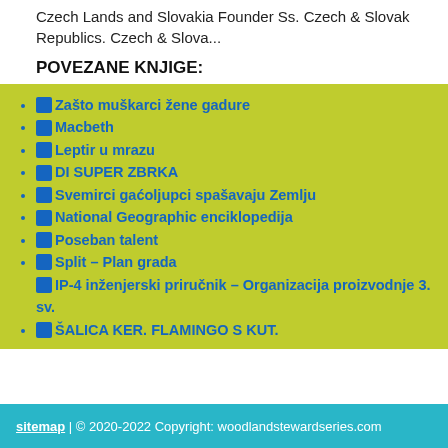Czech Lands and Slovakia Founder Ss. Czech & Slovak Republics. Czech & Slova...
POVEZANE KNJIGE:
Zašto muškarci žene gadure
Macbeth
Leptir u mrazu
DI SUPER ZBRKA
Svemirci gaćoljupci spašavaju Zemlju
National Geographic enciklopedija
Poseban talent
Split – Plan grada
IP-4 inženjerski priručnik – Organizacija proizvodnje 3. sv.
ŠALICA KER. FLAMINGO S KUT.
sitemap | © 2020-2022 Copyright: woodlandstewardseries.com